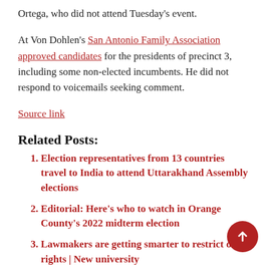Ortega, who did not attend Tuesday's event.
At Von Dohlen's San Antonio Family Association approved candidates for the presidents of precinct 3, including some non-elected incumbents. He did not respond to voicemails seeking comment.
Source link
Related Posts:
Election representatives from 13 countries travel to India to attend Uttarakhand Assembly elections
Editorial: Here's who to watch in Orange County's 2022 midterm election
Lawmakers are getting smarter to restrict our rights | New university
Contested ballots will determine winner of